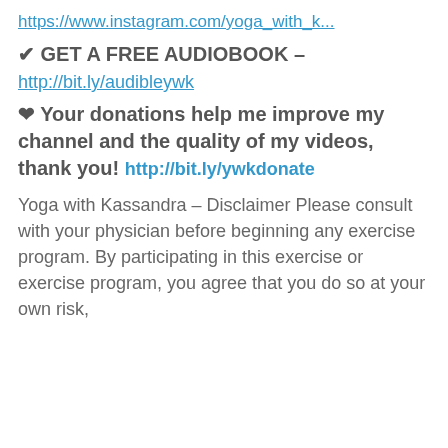https://www.instagram.com/yoga_with_k...
✔ GET A FREE AUDIOBOOK –
http://bit.ly/audibleywk
❤ Your donations help me improve my channel and the quality of my videos, thank you! http://bit.ly/ywkdonate
Yoga with Kassandra – Disclaimer Please consult with your physician before beginning any exercise program. By participating in this exercise or exercise program, you agree that you do so at your own risk,